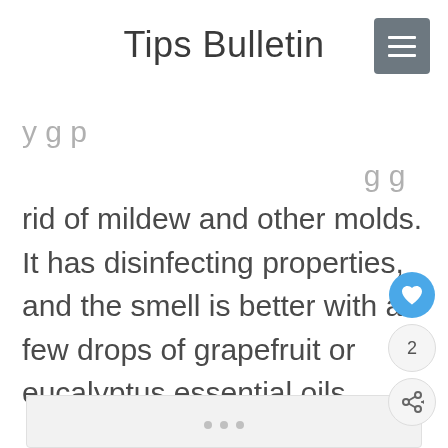Tips Bulletin
rid of mildew and other molds. It has disinfecting properties, and the smell is better with a few drops of grapefruit or eucalyptus essential oils.
[Figure (photo): Light gray placeholder image box with three dots at the bottom center, indicating a loading or empty image slot.]